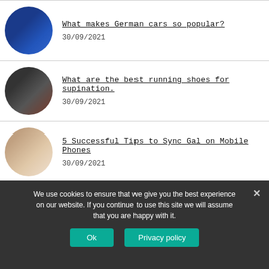What makes German cars so popular? 30/09/2021
What are the best running shoes for supination. 30/09/2021
5 Successful Tips to Sync Gal on Mobile Phones 30/09/2021
Best Alternatives to WinDirStat for Windows 30/09/2021
We use cookies to ensure that we give you the best experience on our website. If you continue to use this site we will assume that you are happy with it.
Ok
Privacy policy